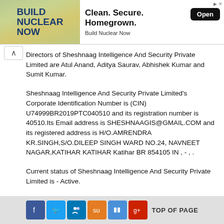[Figure (other): Advertisement banner for 'Build Nuclear Now' with text 'Clean. Secure. Homegrown.' and an Open button]
Directors of Sheshnaag Intelligence And Security Private Limited are Atul Anand, Aditya Saurav, Abhishek Kumar and Sumit Kumar.
Sheshnaag Intelligence And Security Private Limited's Corporate Identification Number is (CIN) U74999BR2019PTC040510 and its registration number is 40510.Its Email address is SHESHNAAGIS@GMAIL.COM and its registered address is H/O.AMRENDRA KR.SINGH,S/O.DILEEP SINGH WARD NO.24, NAVNEET NAGAR,KATIHAR KATIHAR Katihar BR 854105 IN , - , .
Current status of Sheshnaag Intelligence And Security Private Limited is - Active.
TOP OF PAGE